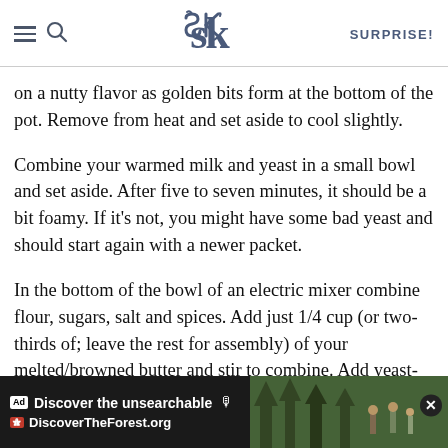SK SURPRISE!
on a nutty flavor as golden bits form at the bottom of the pot. Remove from heat and set aside to cool slightly.
Combine your warmed milk and yeast in a small bowl and set aside. After five to seven minutes, it should be a bit foamy. If it’s not, you might have some bad yeast and should start again with a newer packet.
In the bottom of the bowl of an electric mixer combine flour, sugars, salt and spices. Add just 1/4 cup (or two-thirds of; leave the rest for assembly) of your melted/browned butter and stir to combine. Add yeast-milk mixture, pumpkin and egg and mix combined. Switch mixer to a dough hook and run it for 5 minutes on low.
[Figure (screenshot): Advertisement banner: 'Discover the unsearchable' from DiscoverTheForest.org with forest background image and close button]